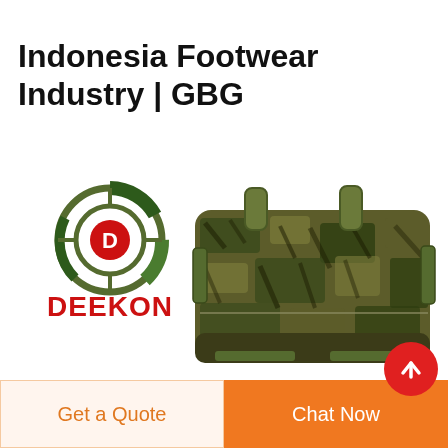Indonesia Footwear Industry | GBG
[Figure (photo): Camouflage military duffel bag with DEEKON logo. The bag is in tiger stripe camouflage pattern with olive drab straps and buckles. DEEKON brand logo (circular target design in green camo with red D letter) displayed to the left with DEEKON text in red below.]
Get a Quote
Chat Now